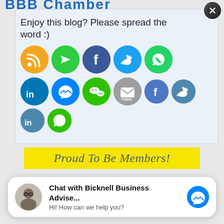Enjoy this blog? Please spread the word :)
[Figure (illustration): Social media sharing icons: RSS, Share, Facebook, Twitter, WhatsApp (top row); LinkedIn, Messenger, WeChat, Email/Follow, Facebook, Twitter, LinkedIn, WhatsApp (second row)]
Proud To Be Members!
[Figure (illustration): Chat widget: profile photo of a man with glasses, text 'Chat with Bicknell Business Advise...' and 'Hi! How can we help you?', blue Facebook Messenger icon]